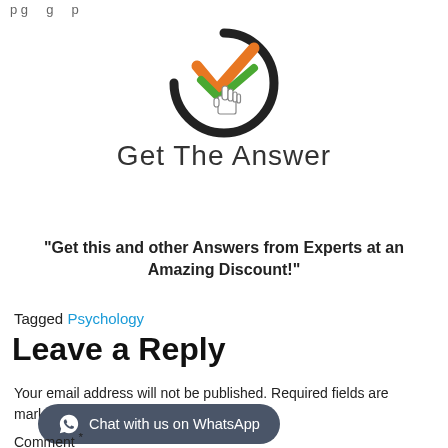p g g p
[Figure (logo): Get The Answer logo with circular arrow icon, orange and green checkmarks, and a hand cursor pointing. Text reads 'Get The Answer' below the icon.]
"Get this and other Answers from Experts at an Amazing Discount!"
Tagged Psychology
Leave a Reply
Your email address will not be published. Required fields are marked *
Chat with us on WhatsApp
Comment *